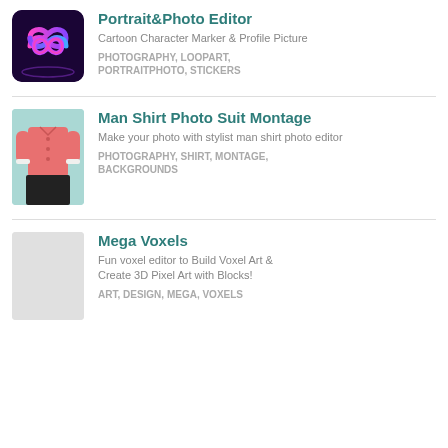[Figure (logo): Portrait & Photo Editor app icon — neon infinity symbol on dark purple background]
Portrait&Photo Editor
Cartoon Character Marker & Profile Picture
PHOTOGRAPHY, LOOPART, PORTRAITPHOTO, STICKERS
[Figure (photo): Man Shirt Photo Suit Montage app icon — headless man in pink shirt on teal background]
Man Shirt Photo Suit Montage
Make your photo with stylist man shirt photo editor
PHOTOGRAPHY, SHIRT, MONTAGE, BACKGROUNDS
[Figure (illustration): Mega Voxels app icon — light gray placeholder square]
Mega Voxels
Fun voxel editor to Build Voxel Art & Create 3D Pixel Art with Blocks!
ART, DESIGN, MEGA, VOXELS